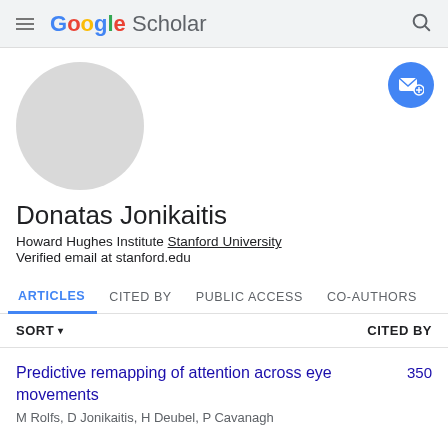Google Scholar
[Figure (photo): Default gray circular avatar placeholder for user profile photo]
Donatas Jonikaitis
Howard Hughes Institute Stanford University
Verified email at stanford.edu
ARTICLES  CITED BY  PUBLIC ACCESS  CO-AUTHORS
SORT ▾   CITED BY
Predictive remapping of attention across eye movements
M Rolfs, D Jonikaitis, H Deubel, P Cavanagh   350